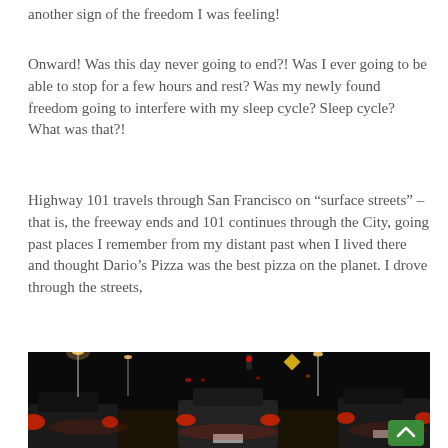another sign of the freedom I was feeling!
Onward!  Was this day never going to end?!  Was I ever going to be able to stop for a few hours and rest?  Was my newly found freedom going to interfere with my sleep cycle?  Sleep cycle?  What was that?!
Highway 101 travels through San Francisco on “surface streets” – that is, the freeway ends and 101 continues through the City, going past places I remember from my distant past when I lived there and thought Dario’s Pizza was the best pizza on the planet.  I drove through the streets,
[Figure (photo): Night-time street scene viewed from inside a car, showing multiple vehicles ahead with red tail lights on a city street with traffic lights and street lamps illuminating the dark scene.]